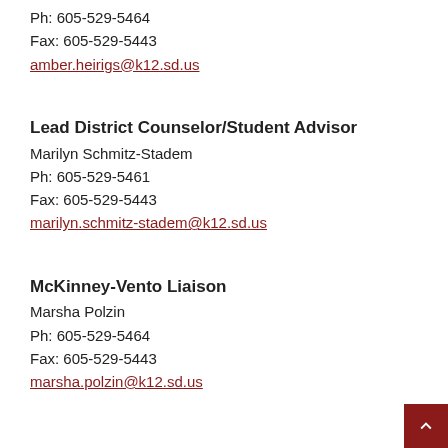Ph: 605-529-5464
Fax: 605-529-5443
amber.heirigs@k12.sd.us
Lead District Counselor/Student Advisor
Marilyn Schmitz-Stadem
Ph: 605-529-5461
Fax: 605-529-5443
marilyn.schmitz-stadem@k12.sd.us
McKinney-Vento Liaison
Marsha Polzin
Ph: 605-529-5464
Fax: 605-529-5443
marsha.polzin@k12.sd.us